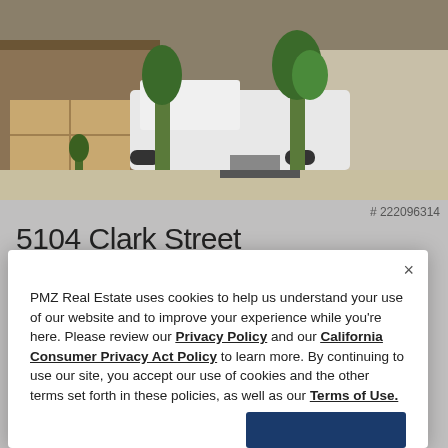[Figure (photo): Exterior photo of a house showing the driveway with a white RAM pickup truck, garage area, and tropical plants]
# 222096314
5104 Clark Street
Keyes, CA 95328
3 Beds | 2 Baths | 1098 sq.ft. | Single-Family
PMZ Real Estate uses cookies to help us understand your use of our website and to improve your experience while you're here. Please review our Privacy Policy and our California Consumer Privacy Act Policy to learn more. By continuing to use our site, you accept our use of cookies and the other terms set forth in these policies, as well as our Terms of Use.